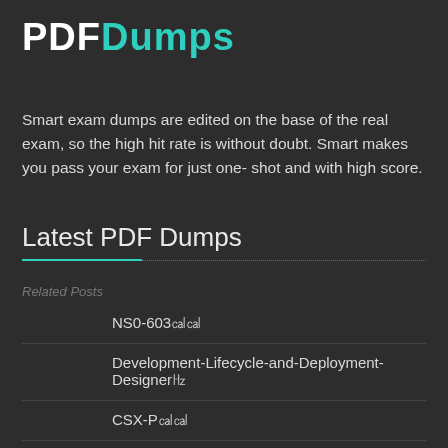PDFDumps
Smart exam dumps are edited on the base of the real exam, so the high hit rate is without doubt. Smart makes you pass your exam for just one-shot and with high score.
Latest PDF Dumps
Related Posts
NS0-603㎜㎜
Development-Lifecycle-and-Deployment-Designer㎜
CSX-P㎜㎜
212-89㎜㎜
C-TS460-2021㎜㎜